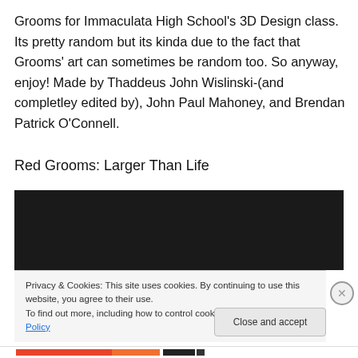Grooms for Immaculata High School's 3D Design class. Its pretty random but its kinda due to the fact that Grooms' art can sometimes be random too. So anyway, enjoy! Made by Thaddeus John Wislinski-(and completley edited by), John Paul Mahoney, and Brendan Patrick O'Connell.
Red Grooms: Larger Than Life
[Figure (photo): Dark/black video embed area]
Privacy & Cookies: This site uses cookies. By continuing to use this website, you agree to their use.
To find out more, including how to control cookies, see here: Cookie Policy